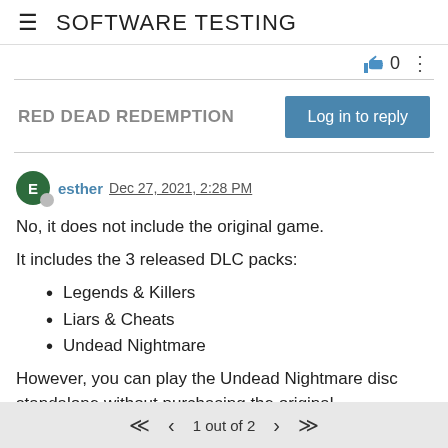≡   SOFTWARE TESTING
👍 0  ⋮
RED DEAD REDEMPTION
Log in to reply
esther  Dec 27, 2021, 2:28 PM
No, it does not include the original game.
It includes the 3 released DLC packs:
Legends & Killers
Liars & Cheats
Undead Nightmare
However, you can play the Undead Nightmare disc standalone without purchasing the original
« ‹  1 out of 2  › »